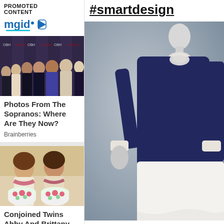PROMOTED CONTENT
[Figure (logo): mgid logo with blue text and cyan underline and play button icon]
[Figure (photo): Group photo of women at what appears to be a TV show event with OBH signage backdrop]
Photos From The Sopranos: Where Are They Now?
Brainberries
[Figure (photo): Two women holding watermelon-decorated cakes at a party]
Conjoined Twins Abby And Brittany
#smartdesign
[Figure (photo): Fashion mannequin wearing a navy blue long-sleeve top with white collar and cuffs, paired with a white skirt, on a gray background]